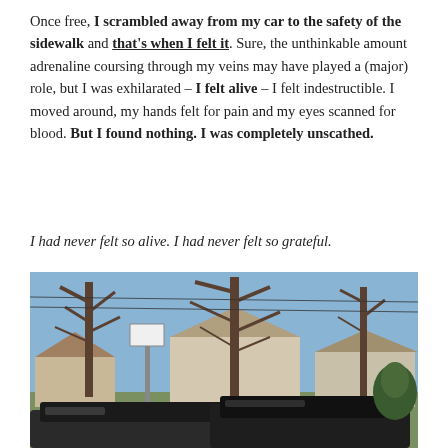Once free, I scrambled away from my car to the safety of the sidewalk and that's when I felt it. Sure, the unthinkable amount adrenaline coursing through my veins may have played a (major) role, but I was exhilarated – I felt alive – I felt indestructible. I moved around, my hands felt for pain and my eyes scanned for blood. But I found nothing. I was completely unscathed.
I had never felt so alive. I had never felt so grateful.
[Figure (photo): Outdoor photograph showing bare winter trees against a blue sky, suburban houses in the background, and dark SUV vehicles in the foreground.]